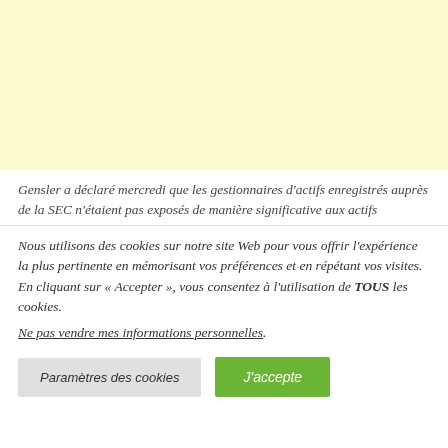[Figure (other): Yellow/cream colored background block at top of page, appears to be an advertisement or image placeholder area]
Gensler a déclaré mercredi que les gestionnaires d'actifs enregistrés auprès de la SEC n'étaient pas exposés de manière significative aux actifs
Nous utilisons des cookies sur notre site Web pour vous offrir l'expérience la plus pertinente en mémorisant vos préférences et en répétant vos visites. En cliquant sur « Accepter », vous consentez à l'utilisation de TOUS les cookies.
Ne pas vendre mes informations personnelles.
Paramètres des cookies
J'accepte